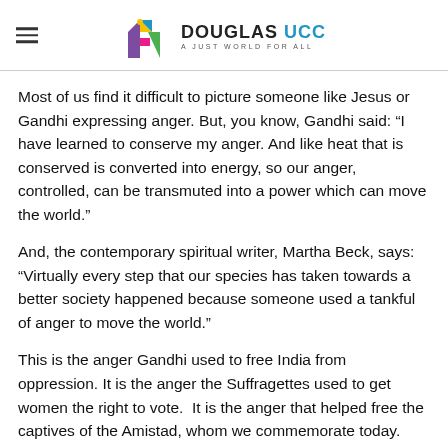Douglas UCC — A Just World For All
Most of us find it difficult to picture someone like Jesus or Gandhi expressing anger. But, you know, Gandhi said: “I have learned to conserve my anger. And like heat that is conserved is converted into energy, so our anger, controlled, can be transmuted into a power which can move the world.”
And, the contemporary spiritual writer, Martha Beck, says: “Virtually every step that our species has taken towards a better society happened because someone used a tankful of anger to move the world.”
This is the anger Gandhi used to free India from oppression. It is the anger the Suffragettes used to get women the right to vote.  It is the anger that helped free the captives of the Amistad, whom we commemorate today. And, it’s the anger of ACT-UP during the AIDS crisis, and the